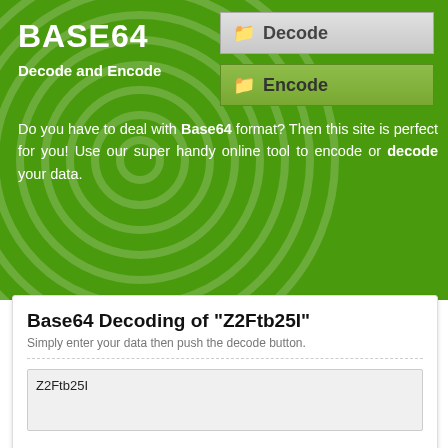BASE64
Decode and Encode
[Figure (other): Decode button with folder icon, grey gradient background]
[Figure (other): Encode button with folder icon, green background]
Do you have to deal with Base64 format? Then this site is perfect for you! Use our super handy online tool to encode or decode your data.
Base64 Decoding of "Z2Ftb25I"
Simply enter your data then push the decode button.
Z2Ftb25I